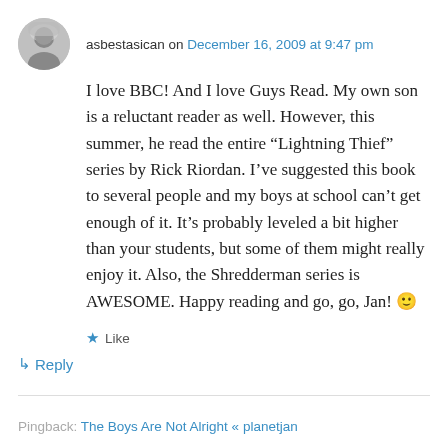asbestasican on December 16, 2009 at 9:47 pm
I love BBC! And I love Guys Read. My own son is a reluctant reader as well. However, this summer, he read the entire “Lightning Thief” series by Rick Riordan. I’ve suggested this book to several people and my boys at school can’t get enough of it. It’s probably leveled a bit higher than your students, but some of them might really enjoy it. Also, the Shredderman series is AWESOME. Happy reading and go, go, Jan! 🙂
★ Like
↳ Reply
Pingback: The Boys Are Not Alright « planetjan